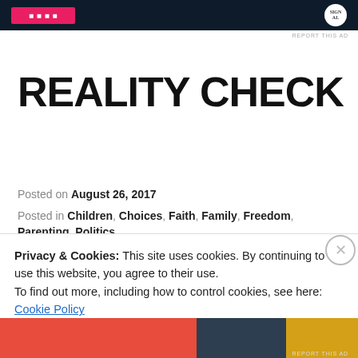[Figure (other): Dark navy advertisement banner at top with a pink/red button and white circle logo]
REPORT THIS AD
REALITY CHECK
Posted on August 26, 2017
Posted in Children, Choices, Faith, Family, Freedom, Parenting, Politics
Privacy & Cookies: This site uses cookies. By continuing to use this website, you agree to their use.
To find out more, including how to control cookies, see here: Cookie Policy
Close and accept
[Figure (other): Bottom advertisement bar with red, dark, and gold color blocks]
REPORT THIS AD